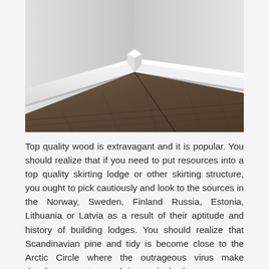[Figure (photo): A corner of a room showing white skirting board/baseboard trim against a wall, with dark brown wood laminate flooring. The perspective shows the corner joint of two walls meeting, with the white baseboard running along both walls.]
Top quality wood is extravagant and it is popular. You should realize that if you need to put resources into a top quality skirting lodge or other skirting structure, you ought to pick cautiously and look to the sources in the Norway, Sweden, Finland Russia, Estonia, Lithuania or Latvia as a result of their aptitude and history of building lodges. You should realize that Scandinavian pine and tidy is become close to the Arctic Circle where the outrageous virus make development rates much increasingly slow